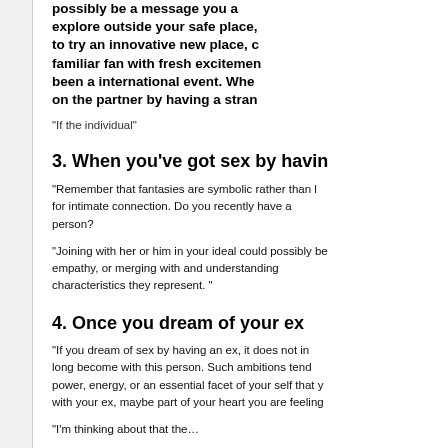possibly be a message you a explore outside your safe place, to try an innovative new place, c familiar fan with fresh excitemen been a international event. Whe on the partner by having a stran
“If the individual”
3. When you’ve got sex by havin
“Remember that fantasies are symbolic rather than l for intimate connection. Do you recently have a person?
“Joining with her or him in your ideal could possibly be empathy, or merging with and understanding characteristics they represent. ”
4. Once you dream of your ex
“If you dream of sex by having an ex, it does not in long become with this person. Such ambitions tend power, energy, or an essential facet of your self that y with your ex, maybe part of your heart you are feeling
“I’m thinking about that the…